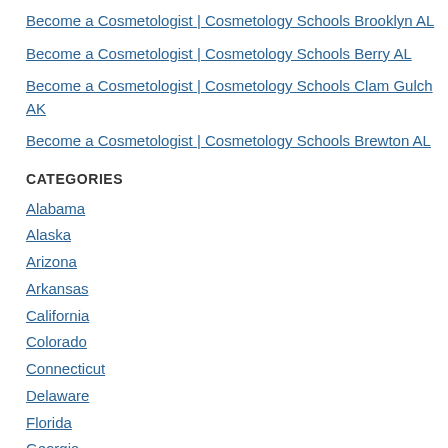Become a Cosmetologist | Cosmetology Schools Brooklyn AL
Become a Cosmetologist | Cosmetology Schools Berry AL
Become a Cosmetologist | Cosmetology Schools Clam Gulch AK
Become a Cosmetologist | Cosmetology Schools Brewton AL
CATEGORIES
Alabama
Alaska
Arizona
Arkansas
California
Colorado
Connecticut
Delaware
Florida
Georgia
Hawaii